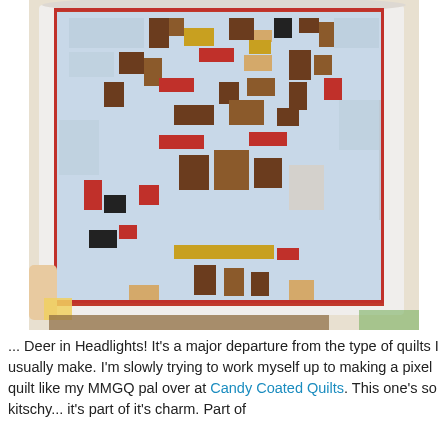[Figure (photo): A photo of an open book showing a pixel art quilt design resembling a deer, made of fabric squares in shades of brown, red, yellow, black, and light blue on a light blue background. The book is being held open, showing the quilt pattern page.]
... Deer in Headlights! It's a major departure from the type of quilts I usually make. I'm slowly trying to work myself up to making a pixel quilt like my MMGQ pal over at Candy Coated Quilts. This one's so kitschy... it's part of it's charm. Part of